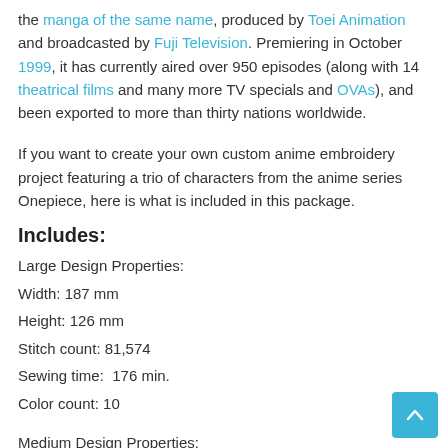the manga of the same name, produced by Toei Animation and broadcasted by Fuji Television. Premiering in October 1999, it has currently aired over 950 episodes (along with 14 theatrical films and many more TV specials and OVAs), and been exported to more than thirty nations worldwide.
If you want to create your own custom anime embroidery project featuring a trio of characters from the anime series Onepiece, here is what is included in this package.
Includes:
Large Design Properties:
Width: 187 mm
Height: 126 mm
Stitch count: 81,574
Sewing time:  176 min.
Color count: 10
Medium Design Properties: